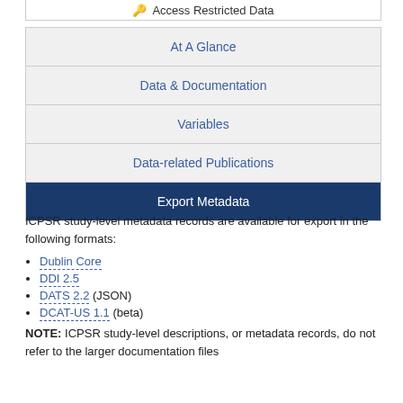Access Restricted Data
At A Glance
Data & Documentation
Variables
Data-related Publications
Export Metadata
ICPSR study-level metadata records are available for export in the following formats:
Dublin Core
DDI 2.5
DATS 2.2 (JSON)
DCAT-US 1.1 (beta)
NOTE: ICPSR study-level descriptions, or metadata records, do not refer to the larger documentation files